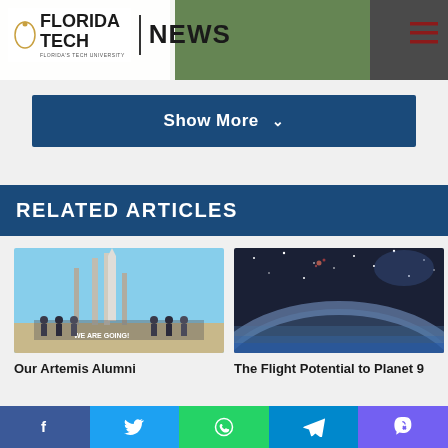FLORIDA TECH NEWS
Show More
RELATED ARTICLES
[Figure (photo): Group of people standing in front of a rocket launch pad holding a 'We Are Going' banner]
Our Artemis Alumni
[Figure (photo): View of space showing Earth's atmosphere curve and stars]
The Flight Potential to Planet 9
Facebook Twitter WhatsApp Telegram Viber share buttons